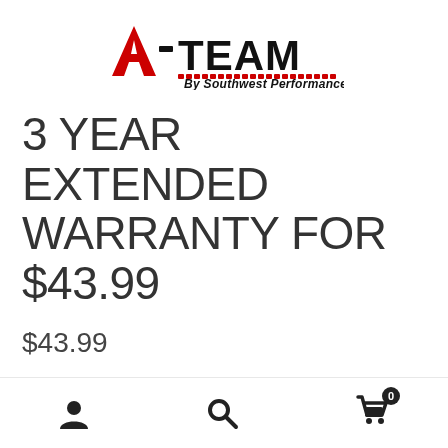[Figure (logo): A-TEAM by Southwest Performance Parts logo with red A and checkered flag stripe]
3 YEAR EXTENDED WARRANTY FOR $43.99
$43.99
A 3 year extended warranty for your product. This warranty will cover your product in cases of manufacturer defects and breakage from normal wear and tear. This warranty
User icon | Search icon | Cart icon with badge 0